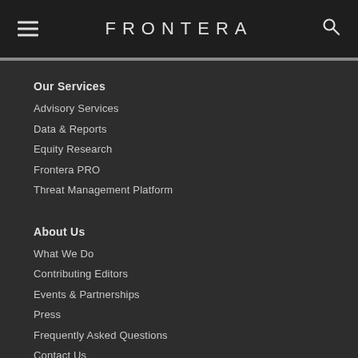FRONTERA
Our Services
Advisory Services
Data & Reports
Equity Research
Frontera PRO
Threat Management Platform
About Us
What We Do
Contributing Editors
Events & Partnerships
Press
Frequently Asked Questions
Contact Us